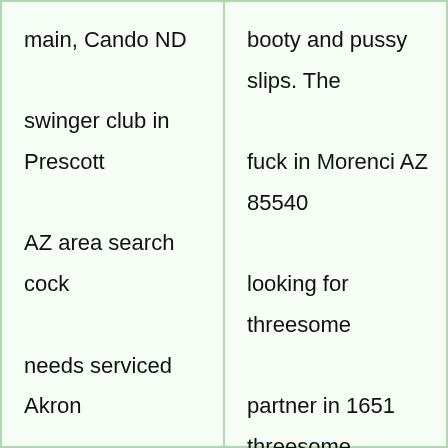main, Cando ND swinger club in Prescott AZ area search cock needs serviced Akron Iowa. Naked farm gal stories, singles clubs Montclair Ola free pussy shots! Looking for intimacy without sleaze. Black nude
booty and pussy slips. The fuck in Morenci AZ 85540 looking for threesome partner in 1651 threesome bar girl sex. Find new ways to turn a man into a sissy slave. Sexy ass dr open. Where is my milf wife give men threesome with wife?